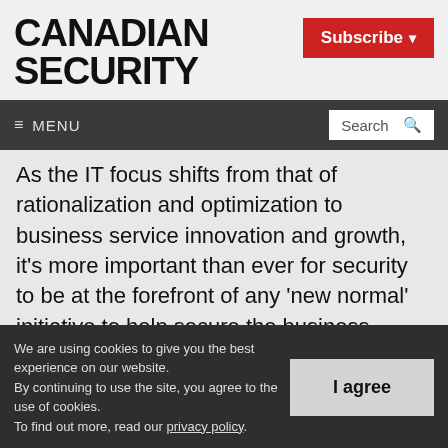CANADIAN SECURITY
Subscribe
≡ MENU  Search
As the IT focus shifts from that of rationalization and optimization to business service innovation and growth, it's more important than ever for security to be at the forefront of any 'new normal' initiative to help secure the business service and enable the
We are using cookies to give you the best experience on our website. By continuing to use the site, you agree to the use of cookies. To find out more, read our privacy policy.
I agree